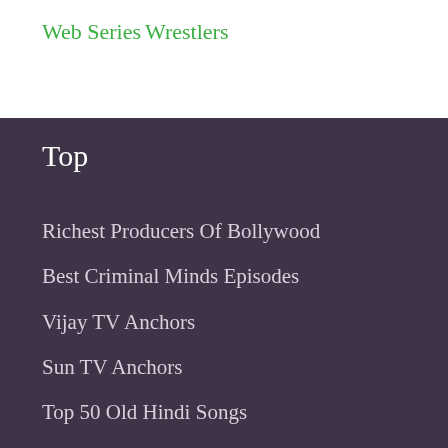Web Series
Wrestlers
Top
Richest Producers Of Bollywood
Best Criminal Minds Episodes
Vijay TV Anchors
Sun TV Anchors
Top 50 Old Hindi Songs